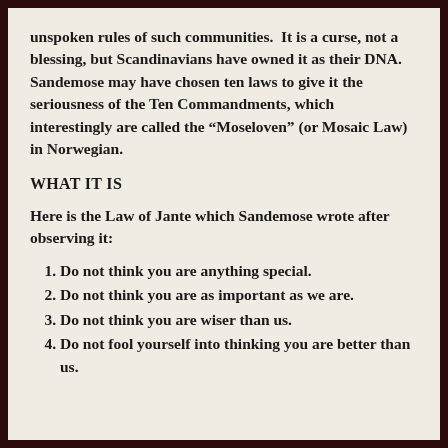unspoken rules of such communities.  It is a curse, not a blessing, but Scandinavians have owned it as their DNA. Sandemose may have chosen ten laws to give it the seriousness of the Ten Commandments, which interestingly are called the “Moseloven” (or Mosaic Law) in Norwegian.
WHAT IT IS
Here is the Law of Jante which Sandemose wrote after observing it:
Do not think you are anything special.
Do not think you are as important as we are.
Do not think you are wiser than us.
Do not fool yourself into thinking you are better than us.